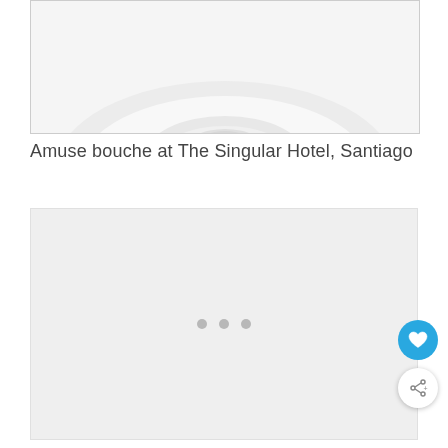[Figure (photo): Top portion of a photo showing white ceramic plates/cups on a white surface — amuse bouche presentation at The Singular Hotel, Santiago]
Amuse bouche at The Singular Hotel, Santiago
[Figure (photo): A loading or placeholder image area with three gray dots indicating an image is loading]